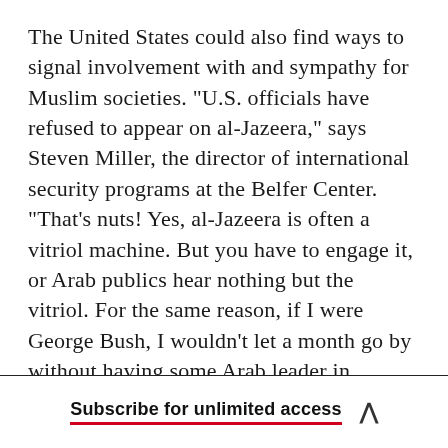The United States could also find ways to signal involvement with and sympathy for Muslim societies. "U.S. officials have refused to appear on al-Jazeera," says Steven Miller, the director of international security programs at the Belfer Center. "That's nuts! Yes, al-Jazeera is often a vitriol machine. But you have to engage it, or Arab publics hear nothing but the vitriol. For the same reason, if I were George Bush, I wouldn't let a month go by without having some Arab leader in Crawford for a barbecue." Brian Jenkins says that every day the United States should stress the harm
Subscribe for unlimited access